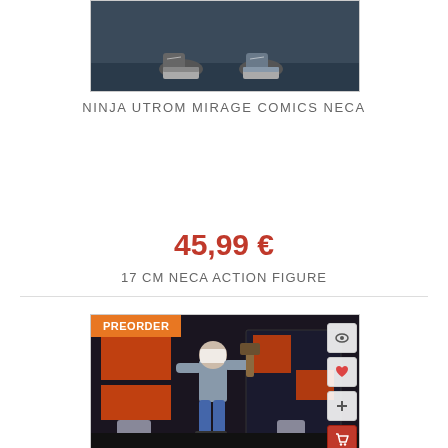[Figure (photo): Close-up of action figure feet/shoes on dark background]
NINJA UTROM MIRAGE COMICS NECA
45,99 €
17 CM NECA ACTION FIGURE
[Figure (photo): Action figure of a muscular character holding a weapon, with preorder badge, on dark brick/orange wall background. Has eye, heart, plus, and cart action buttons on the right.]